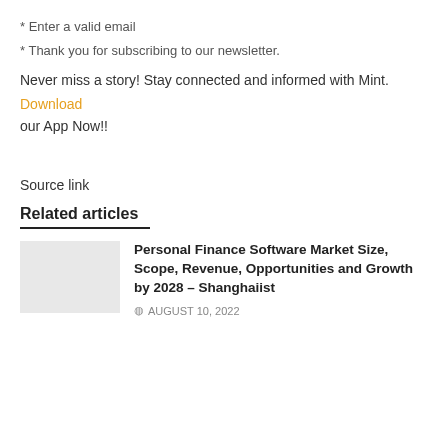* Enter a valid email
* Thank you for subscribing to our newsletter.
Never miss a story! Stay connected and informed with Mint.
Download our App Now!!
Source link
Related articles
Personal Finance Software Market Size, Scope, Revenue, Opportunities and Growth by 2028 – Shanghaiist
AUGUST 10, 2022